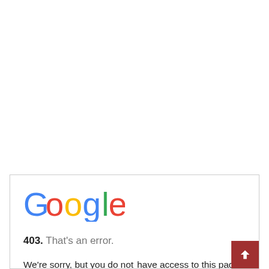Download 2000 Banking Awareness MCQ Question
[Figure (screenshot): Google 403 error page screenshot showing the Google logo and a 403 error message: '403. That's an error. We're sorry, but you do not have access to this page.']